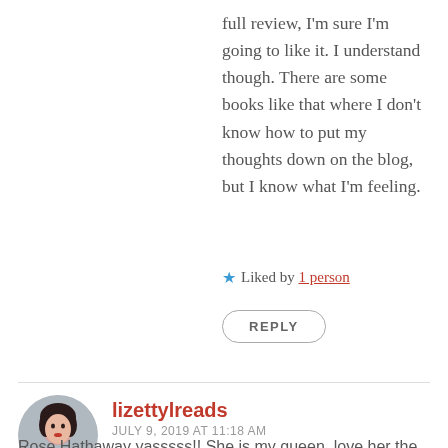full review, I'm sure I'm going to like it. I understand though. There are some books like that where I don't know how to put my thoughts down on the blog, but I know what I'm feeling.
★ Liked by 1 person
REPLY
lizettylreads
JULY 9, 2019 AT 11:18 AM
Rose Hathaway yasssss!! She is my queen, love her the